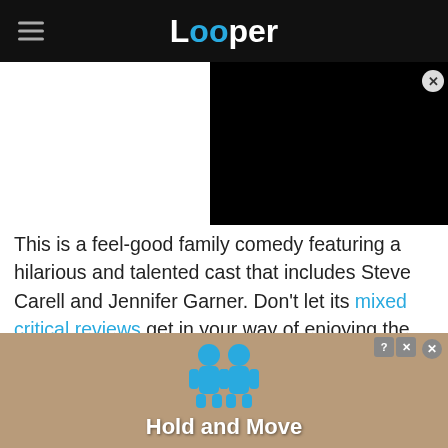Looper
[Figure (screenshot): Black video player embedded in upper right of page]
This is a feel-good family comedy featuring a hilarious and talented cast that includes Steve Carell and Jennifer Garner. Don't let its mixed critical reviews get in your way of enjoying the film, as it has an entertaining, fun, and heartwarming storyline that's perfect for family movie nights. If anything,
[Figure (screenshot): Ad banner at bottom showing 'Hold and Move' game with blue character figures on a wooden/tan background]